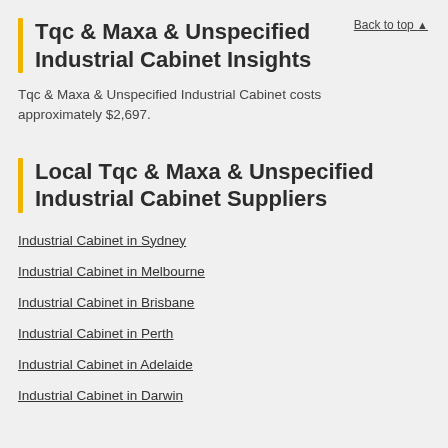Tqc & Maxa & Unspecified Industrial Cabinet Insights
Tqc & Maxa & Unspecified Industrial Cabinet costs approximately $2,697.
Local Tqc & Maxa & Unspecified Industrial Cabinet Suppliers
Industrial Cabinet in Sydney
Industrial Cabinet in Melbourne
Industrial Cabinet in Brisbane
Industrial Cabinet in Perth
Industrial Cabinet in Adelaide
Industrial Cabinet in Darwin